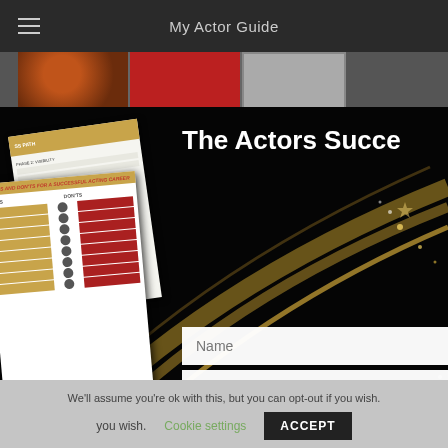My Actor Guide
[Figure (screenshot): Website screenshot showing My Actor Guide page with navigation bar, thumbnail strip of images, hero section with dark background and gold sparkle effect, brochure/guide images on the left, heading 'The Actors Succe...' partially visible, name and email form fields, 'YES, I NEED TH...' button, text overlays reading 'biggest', 'my', 'true!', 'Roadmap', 'ful Working Actor']
We'll assume you're ok with this, but you can opt-out if you wish.
Cookie settings
ACCEPT